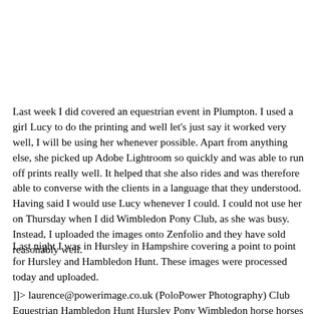Last week I did covered an equestrian event in Plumpton. I used a girl Lucy to do the printing and well let's just say it worked very well, I will be using her whenever possible. Apart from anything else, she picked up Adobe Lightroom so quickly and was able to run off prints really well. It helped that she also rides and was therefore able to converse with the clients in a language that they understood. Having said I would use Lucy whenever I could. I could not use her on Thursday when I did Wimbledon Pony Club, as she was busy. Instead, I uploaded the images onto Zenfolio and they have sold reasonably well.
Last night I was in Hursley in Hampshire covering a point to point for Hursley and Hambledon Hunt. These images were processed today and uploaded.
]]> laurence@powerimage.co.uk (PoloPower Photography) Club Equestrian Hambledon Hunt Hursley Pony Wimbledon horse horses https://www.polopower.co.uk/blog/2012/8/04/08/12 Sun, 04